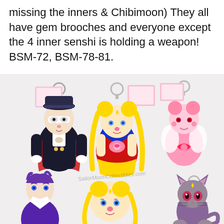missing the inners & Chibimoon) They all have gem brooches and everyone except the 4 inner senshi is holding a weapon! BSM-72, BSM-78-81.
[Figure (photo): Photo of six Sailor Moon plush keychains: Tuxedo Mask (black outfit, white mask), Eternal Sailor Moon (yellow hair, red outfit), Chibiusa/Sailor Chibi Moon (pink, holding heart), a character with purple hair, Sailor Moon head/chibi (yellow twintails), and Diana/Luna-P style cat (purple). Each has a keychain ring and printed card tag.]